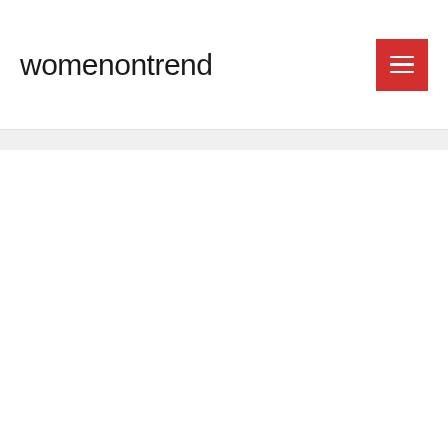womenontrend
[Figure (other): White content area below navigation header]